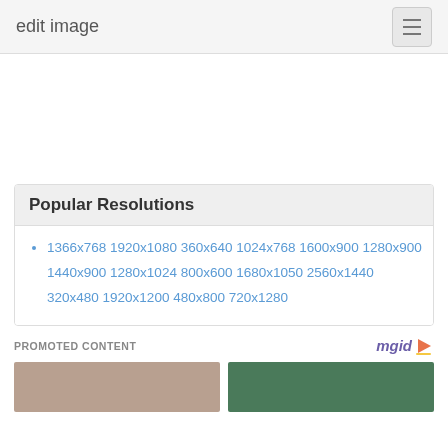edit image
Popular Resolutions
1366x768 1920x1080 360x640 1024x768 1600x900 1280x900 1440x900 1280x1024 800x600 1680x1050 2560x1440 320x480 1920x1200 480x800 720x1280
PROMOTED CONTENT
[Figure (photo): Two promotional content thumbnail images side by side below the 'PROMOTED CONTENT' label with mgid logo.]